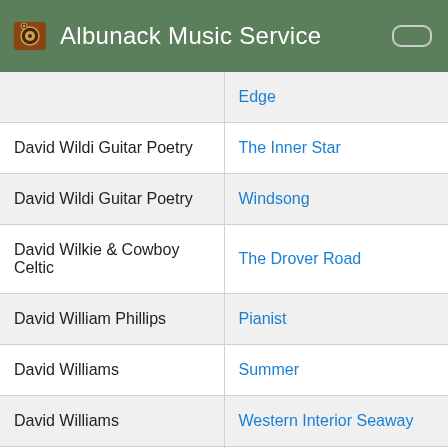Albunack Music Service
| Artist | Album |
| --- | --- |
|  | Edge |
| David Wildi Guitar Poetry | The Inner Star |
| David Wildi Guitar Poetry | Windsong |
| David Wilkie & Cowboy Celtic | The Drover Road |
| David William Phillips | Pianist |
| David Williams | Summer |
| David Williams | Western Interior Seaway |
| David Wilson | Dreams of Hollywood |